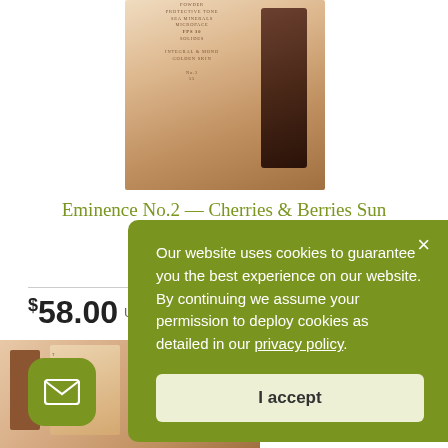[Figure (photo): Product photo of Eminence No.2 Cherries & Berries Sun Defense Minerals powder and applicator on peach/tan background]
Eminence No.2 — Cherries & Berries Sun Defense Minerals
Sun protection
$58.00 USD ★★★½☆
[Figure (photo): Partial view of a second product with peach/tan packaging in the lower left]
[Figure (other): Green rounded square email/envelope icon button in the lower left corner]
Our website uses cookies to guarantee you the best experience on our website. By continuing we assume your permission to deploy cookies as detailed in our privacy policy.
I accept